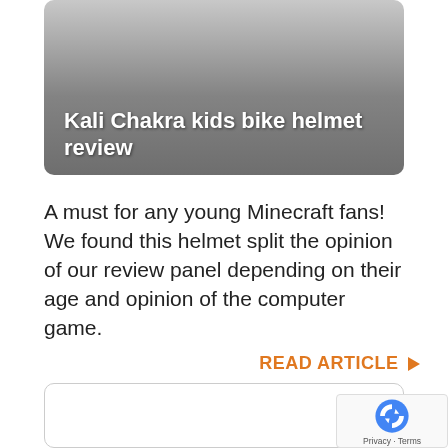Kali Chakra kids bike helmet review
A must for any young Minecraft fans! We found this helmet split the opinion of our review panel depending on their age and opinion of the computer game.
READ ARTICLE ▶